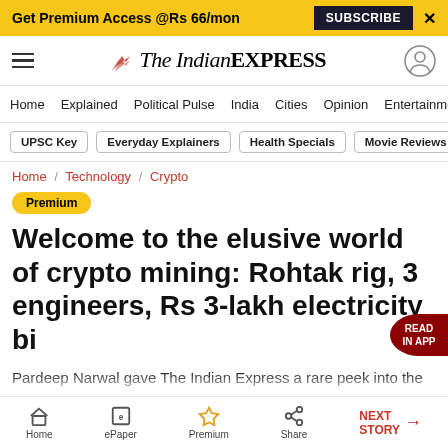Get Premium Access @Rs 66/mon  SUBSCRIBE  ×
The Indian EXPRESS
Home / Explained / Political Pulse / India / Cities / Opinion / Entertainment
UPSC Key | Everyday Explainers | Health Specials | Movie Reviews
Home / Technology / Crypto
Premium
Welcome to the elusive world of crypto mining: Rohtak rig, 3 engineers, Rs 3-lakh electricity bi…
Pardeep Narwal gave The Indian Express a rare peek into the elusive world of cryptocurrency mining, opening the doors to his 24-hour operation inside a
Home  ePaper  Premium  Share  NEXT STORY →